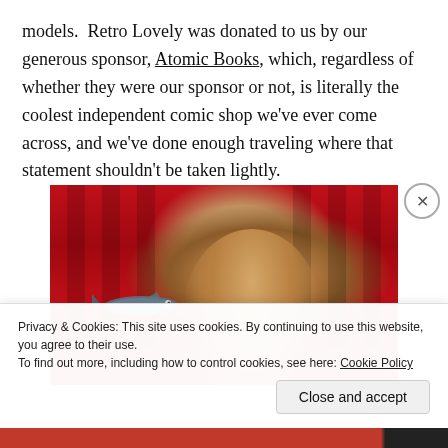models. Retro Lovely was donated to us by our generous sponsor, Atomic Books, which, regardless of whether they were our sponsor or not, is literally the coolest independent comic shop we've ever come across, and we've done enough traveling where that statement shouldn't be taken lightly.
[Figure (photo): A woman with curly hair kisses or holds a large fish (like a salmon) up to her face, performing on a stage with red curtains in the background.]
Privacy & Cookies: This site uses cookies. By continuing to use this website, you agree to their use.
To find out more, including how to control cookies, see here: Cookie Policy
Close and accept